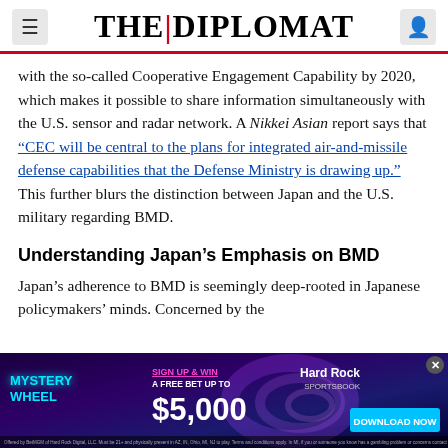THE DIPLOMAT
with the so-called Cooperative Engagement Capability by 2020, which makes it possible to share information simultaneously with the U.S. sensor and radar network. A Nikkei Asian report says that “CEC will be central to the plans for integrated air-and-missile defense capabilities that the Defense Ministry is drawing up.” This further blurs the distinction between Japan and the U.S. military regarding BMD.
Understanding Japan’s Emphasis on BMD
Japan’s adherence to BMD is seemingly deep-rooted in Japanese policymakers’ minds. Concerned by the
[Figure (other): Hard Rock Sportsbook advertisement banner with Mystery Wheel promotion offering a free bet up to $5,000 and a Download Now button.]